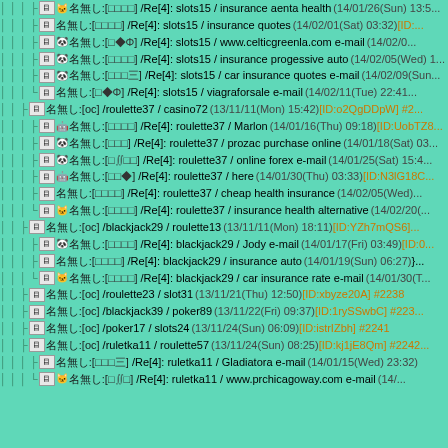/Re[4]: slots15 / insurance aenta health (14/01/26(Sun) 13:5...
/Re[4]: slots15 / insurance quotes (14/02/01(Sat) 03:32) [ID:...
/Re[4]: slots15 / www.celticgreenla.com e-mail (14/02/0...
/Re[4]: slots15 / insurance progessive auto (14/02/05(Wed) 1...
/Re[4]: slots15 / car insurance quotes e-mail (14/02/09(Sun...
/Re[4]: slots15 / viagraforsale e-mail (14/02/11(Tue) 22:41...
/roulette37 / casino72 (13/11/11(Mon) 15:42) [ID:o2QgDDpW] #2...
/Re[4]: roulette37 / Marlon (14/01/16(Thu) 09:18) [ID:UobTZ8...
/Re[4]: roulette37 / prozac purchase online (14/01/18(Sat) 03...
/Re[4]: roulette37 / online forex e-mail (14/01/25(Sat) 15:4...
/Re[4]: roulette37 / here (14/01/30(Thu) 03:33) [ID:N3lG18C...
/Re[4]: roulette37 / cheap health insurance (14/02/05(Wed)...
/Re[4]: roulette37 / insurance health alternative (14/02/20(...
/blackjack29 / roulette13 (13/11/11(Mon) 18:11) [ID:YZh7mQS6]...
/Re[4]: blackjack29 / Jody e-mail (14/01/17(Fri) 03:49) [ID:0...
/Re[4]: blackjack29 / insurance auto (14/01/19(Sun) 06:27) }...
/Re[4]: blackjack29 / car insurance rate e-mail (14/01/30(T...
/roulette23 / slot31 (13/11/21(Thu) 12:50) [ID:xbyze20A] #2238
/blackjack39 / poker89 (13/11/22(Fri) 09:37) [ID:1rySSwbC] #223...
/poker17 / slots24 (13/11/24(Sun) 06:09) [ID:istrIZbh] #2241
/ruletka11 / roulette57 (13/11/24(Sun) 08:25) [ID:kj1jE8Qm] #2242...
/Re[4]: ruletka11 / Gladiatora e-mail (14/01/15(Wed) 23:32)
/Re[4]: ruletka11 / www.prchicagoway.com e-mail (14/...